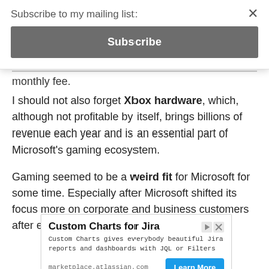Subscribe to my mailing list:
Subscribe
monthly fee.
I should not also forget Xbox hardware, which, although not profitable by itself, brings billions of revenue each year and is an essential part of Microsoft’s gaming ecosystem.
Gaming seemed to be a weird fit for Microsoft for some time. Especially after Microsoft shifted its focus more on corporate and business customers after exiting the smartphone OS market.
[Figure (screenshot): Advertisement for Custom Charts for Jira. Title: Custom Charts for Jira. Body: Custom Charts gives everybody beautiful Jira reports and dashboards with JQL or Filters. Domain: marketplace.atlassian.com. Button: Learn More.]